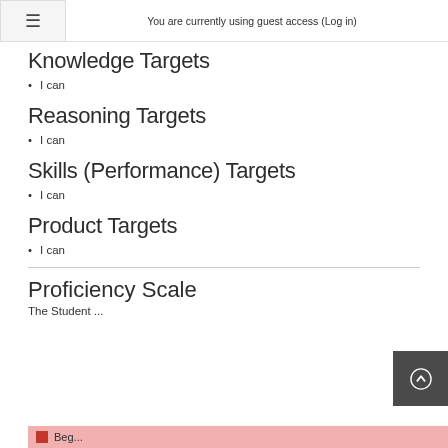You are currently using guest access (Log in)
Knowledge Targets
I can
Reasoning Targets
I can
Skills (Performance) Targets
I can
Product Targets
I can
Proficiency Scale
The Student ...